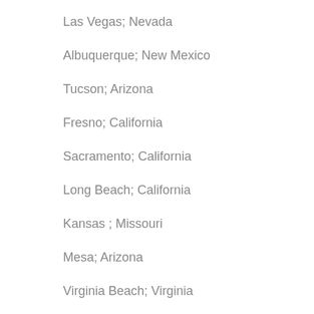Las Vegas; Nevada
Albuquerque; New Mexico
Tucson; Arizona
Fresno; California
Sacramento; California
Long Beach; California
Kansas ; Missouri
Mesa; Arizona
Virginia Beach; Virginia